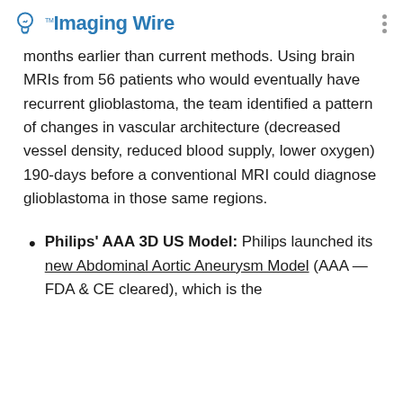Imaging Wire
months earlier than current methods. Using brain MRIs from 56 patients who would eventually have recurrent glioblastoma, the team identified a pattern of changes in vascular architecture (decreased vessel density, reduced blood supply, lower oxygen) 190-days before a conventional MRI could diagnose glioblastoma in those same regions.
Philips' AAA 3D US Model: Philips launched its new Abdominal Aortic Aneurysm Model (AAA — FDA & CE cleared), which is the...